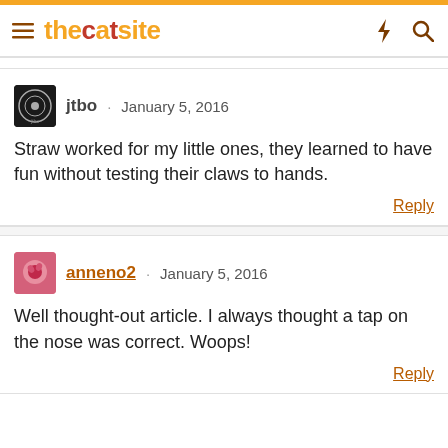thecatsite
jtbo · January 5, 2016
Straw worked for my little ones, they learned to have fun without testing their claws to hands.
Reply
anneno2 · January 5, 2016
Well thought-out article. I always thought a tap on the nose was correct. Woops!
Reply